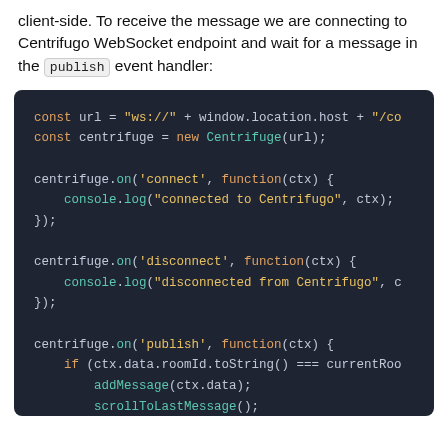client-side. To receive the message we are connecting to Centrifugo WebSocket endpoint and wait for a message in the publish event handler:
[Figure (screenshot): Code block on dark background (#1e2432) showing JavaScript code using Centrifuge WebSocket client. Code includes centrifuge.on calls for connect, disconnect, and publish events.]